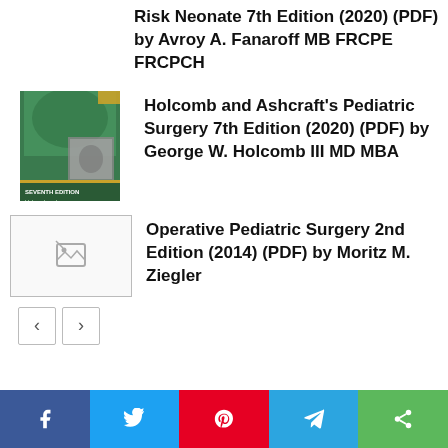Risk Neonate 7th Edition (2020) (PDF) by Avroy A. Fanaroff MB FRCPE FRCPCH
[Figure (illustration): Book cover of Holcomb and Ashcraft's Pediatric Surgery, green cover with medical imagery]
Holcomb and Ashcraft's Pediatric Surgery 7th Edition (2020) (PDF) by George W. Holcomb III MD MBA
[Figure (illustration): Broken/missing image placeholder icon]
Operative Pediatric Surgery 2nd Edition (2014) (PDF) by Moritz M. Ziegler
[Figure (infographic): Social media share bar with Facebook, Twitter, Pinterest, Telegram, and Share buttons]